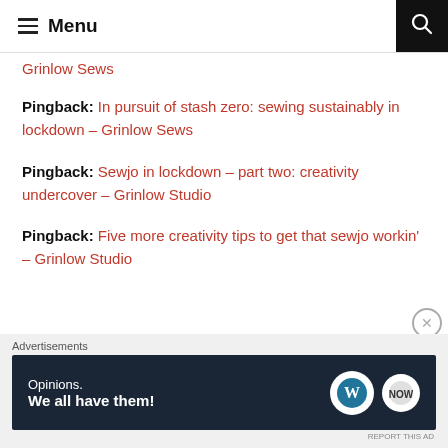Menu
Grinlow Sews
Pingback: In pursuit of stash zero: sewing sustainably in lockdown – Grinlow Sews
Pingback: Sewjo in lockdown – part two: creativity undercover – Grinlow Studio
Pingback: Five more creativity tips to get that sewjo workin' – Grinlow Studio
[Figure (screenshot): WordPress.com advertisement banner: 'Opinions. We all have them!' with WordPress and BeTheme logos on dark navy background]
Advertisements
REPORT THIS AD